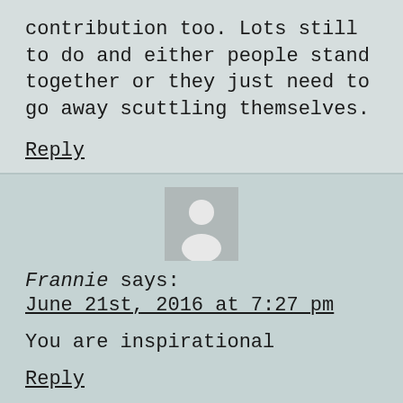contribution too. Lots still to do and either people stand together or they just need to go away scuttling themselves.
Reply
[Figure (illustration): Generic user avatar: grey square with white person silhouette icon]
Frannie says:
June 21st, 2016 at 7:27 pm
You are inspirational
Reply